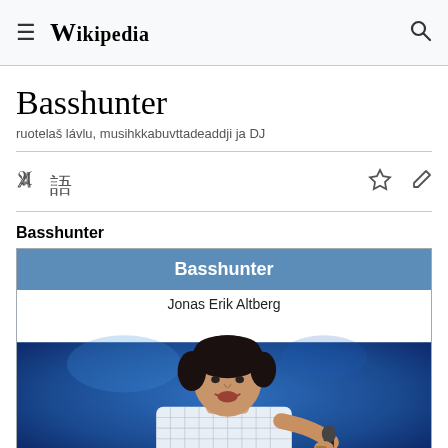Wikipedia
Basshunter
ruotelaš lávlu, musihkkabuvttadeaddji ja DJ
Basshunter
| Basshunter |
| --- |
| Jonas Erik Altberg |
| [photo] |
[Figure (photo): Photo of Basshunter (Jonas Erik Altberg) singing into a microphone on stage, wearing a white shirt, blue background]